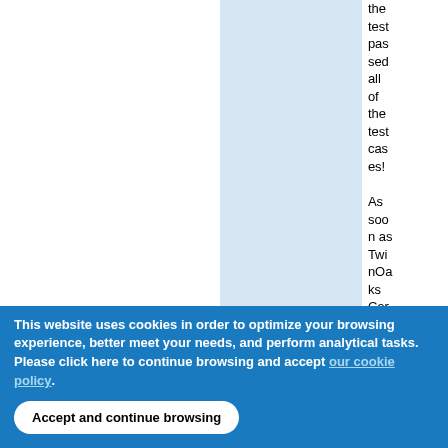the test passed all of the test cases!
As soon as TwinOaks CoreDX releases their
This website uses cookies in order to optimize your browsing experience, better meet your needs, and perform analytical tasks. Please click here to continue browsing and accept our cookie policy .
Accept and continue browsing